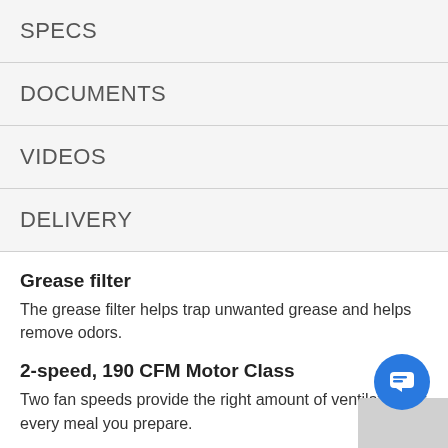SPECS
DOCUMENTS
VIDEOS
DELIVERY
Grease filter
The grease filter helps trap unwanted grease and helps remove odors.
2-speed, 190 CFM Motor Class
Two fan speeds provide the right amount of ventilation for every meal you prepare.
Incandescent Lighting
Incandescent lighting makes it easy to see what you cooking with bulbs that are inexpensive to replace.
Grease filter
The grease filter helps trap unwanted grease and helps